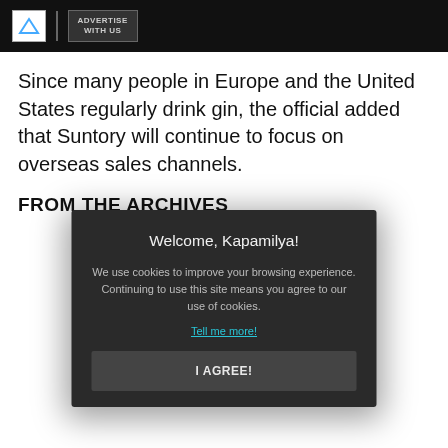ADVERTISE WITH US
Since many people in Europe and the United States regularly drink gin, the official added that Suntory will continue to focus on overseas sales channels.
FROM THE ARCHIVES
[Figure (screenshot): Cookie consent modal dialog with dark background. Title: 'Welcome, Kapamilya!'. Body text: 'We use cookies to improve your browsing experience. Continuing to use this site means you agree to our use of cookies.' Link: 'Tell me more!' Button: 'I AGREE!']